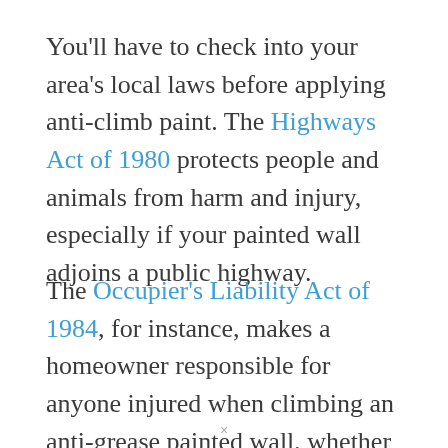You'll have to check into your area's local laws before applying anti-climb paint. The Highways Act of 1980 protects people and animals from harm and injury, especially if your painted wall adjoins a public highway.
The Occupier's Liability Act of 1984, for instance, makes a homeowner responsible for anyone injured when climbing an anti-grease painted wall, whether they're authorized to be there or not unless you've placed enough